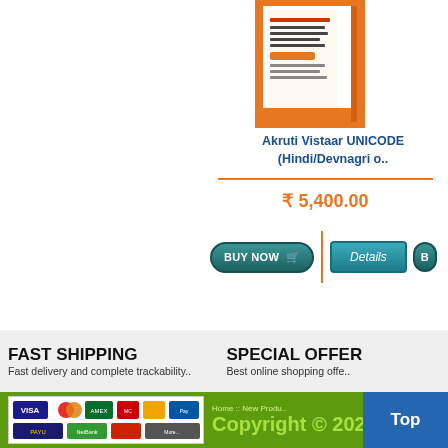[Figure (photo): Book cover for Akruti Vistaar UNICODE, orange bordered with Hindi/Devnagri text]
Akruti Vistaar UNICODE (Hindi/Devnagri o..
₹ 5,400.00
[Figure (other): BUY NOW button with shopping cart icon, Details button, and a third partially visible button separated by orange divider]
FAST SHIPPING
Fast delivery and complete trackability..
SPECIAL OFFER
Best online shopping offe..
[Figure (other): Payment method logos including Visa, Mastercard, and other payment options]
Home :: New Produ.. Copyright © 2022
Top
WholeSale Market   Refurbished Used IT Products   Laptops   Deskt..
Processors (CPU)   Motherboards   LCD/LED TFT Monitors   Printer Ca..
Optical Drives   Memory (RAMs)   Cabinets   Cameras   CCTV Securi..
LED/Sma..